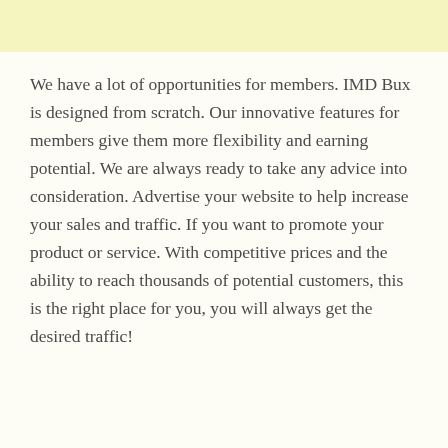We have a lot of opportunities for members. IMD Bux is designed from scratch. Our innovative features for members give them more flexibility and earning potential. We are always ready to take any advice into consideration. Advertise your website to help increase your sales and traffic. If you want to promote your product or service. With competitive prices and the ability to reach thousands of potential customers, this is the right place for you, you will always get the desired traffic!